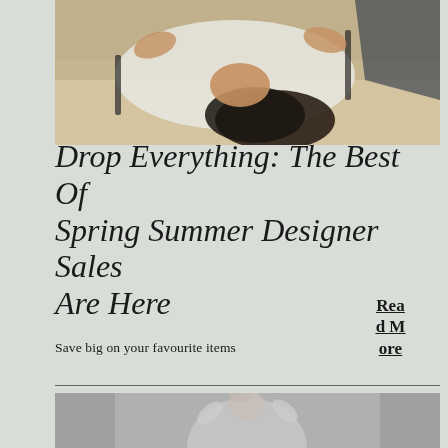[Figure (photo): Woman in white shirt with black trim lying down, aerial/overhead view, fashion editorial style in color]
Drop Everything: The Best Of Spring Summer Designer Sales Are Here
Read More
Save big on your favourite items
[Figure (photo): Black and white fashion photo of woman with hands raised above her head, wearing large hoop earrings]